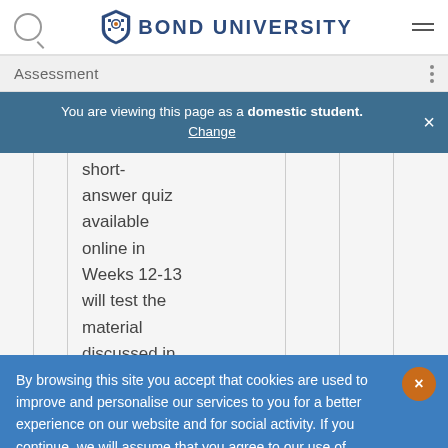BOND UNIVERSITY
Assessment
You are viewing this page as a domestic student. Change
short-answer quiz available online in Weeks 12-13 will test the material discussed in
By browsing this site you accept that cookies are used to improve and personalise our services to you for a better experience on our website and for social activity. If you continue, we will assume that you agree to our use of cookies statement.